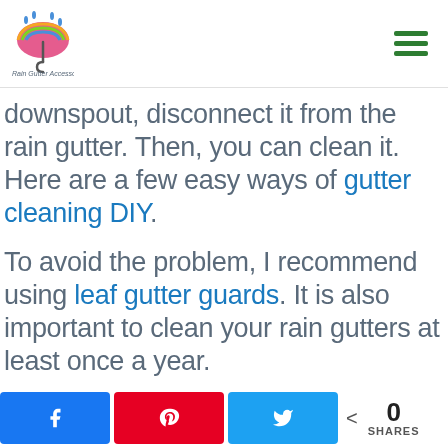[Figure (logo): Rain Gutter Accessories logo with colorful umbrella and water drops]
downspout, disconnect it from the rain gutter. Then, you can clean it. Here are a few easy ways of gutter cleaning DIY.
To avoid the problem, I recommend using leaf gutter guards. It is also important to clean your rain gutters at least once a year.
Social share buttons: Facebook, Pinterest, Twitter. 0 SHARES